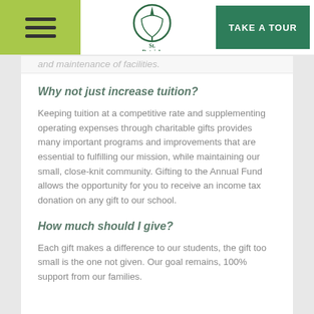St. Patrick | TAKE A TOUR
and maintenance of facilities.
Why not just increase tuition?
Keeping tuition at a competitive rate and supplementing operating expenses through charitable gifts provides many important programs and improvements that are essential to fulfilling our mission, while maintaining our small, close-knit community. Gifting to the Annual Fund allows the opportunity for you to receive an income tax donation on any gift to our school.
How much should I give?
Each gift makes a difference to our students, the gift too small is the one not given. Our goal remains, 100% support from our families.